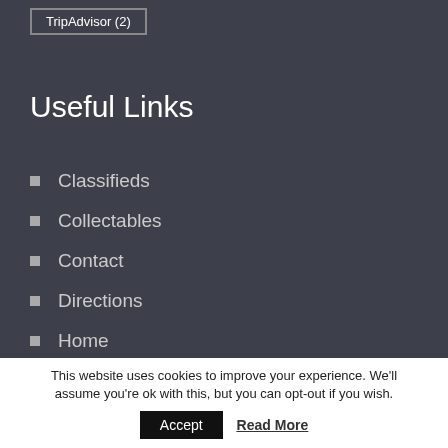TripAdvisor (2)
Useful Links
Classifieds
Collectables
Contact
Directions
Home
This website uses cookies to improve your experience. We'll assume you're ok with this, but you can opt-out if you wish.
Accept
Read More